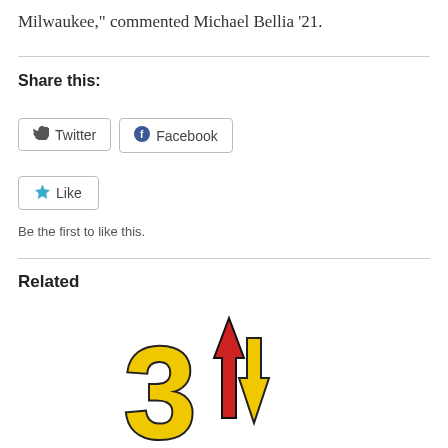Milwaukee," commented Michael Bellia '21.
Share this:
[Figure (other): Twitter social sharing button with bird icon]
[Figure (other): Facebook social sharing button with 'f' icon]
[Figure (other): Like button with blue star icon]
Be the first to like this.
Related
[Figure (illustration): Illustration of the number '3' with up and down arrows in yellow and red colors]